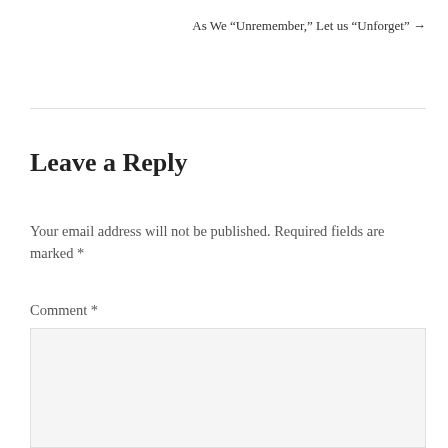As We “Unremember,” Let us “Unforget” →
Leave a Reply
Your email address will not be published. Required fields are marked *
Comment *